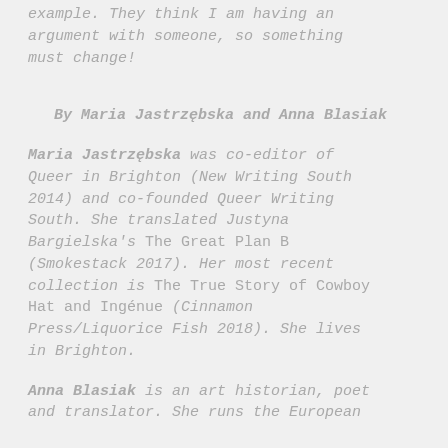example. They think I am having an argument with someone, so something must change!
By Maria Jastrzębska and Anna Blasiak
Maria Jastrzębska was co-editor of Queer in Brighton (New Writing South 2014) and co-founded Queer Writing South. She translated Justyna Bargielska's The Great Plan B (Smokestack 2017). Her most recent collection is The True Story of Cowboy Hat and Ingénue (Cinnamon Press/Liquorice Fish 2018). She lives in Brighton.
Anna Blasiak is an art historian, poet and translator. She runs the European...